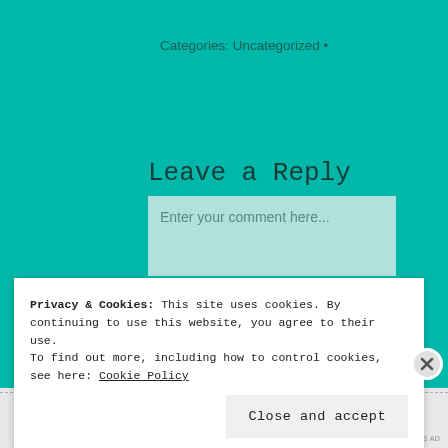Categories: Uncategorized •
Leave a Reply
Enter your comment here...
Privacy & Cookies: This site uses cookies. By continuing to use this website, you agree to their use.
To find out more, including how to control cookies, see here: Cookie Policy
Close and accept
[Figure (screenshot): DuckDuckGo advertisement banner: 'Search, browse, and email with more privacy. All in One Free App' with DuckDuckGo logo on dark blue background]